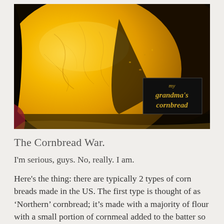[Figure (photo): Close-up photo of golden yellow cornbread in a dark cast iron skillet, with a slice cut away showing the crumbly texture. A black label overlay in the bottom-right reads 'my grandma's cornbread' in gold italic text.]
The Cornbread War.
I'm serious, guys. No, really. I am.
Here's the thing: there are typically 2 types of corn breads made in the US. The first type is thought of as 'Northern' cornbread; it's made with a majority of flour with a small portion of cornmeal added to the batter so that it's moist, soft, and almost cake-like in texture. It's also...